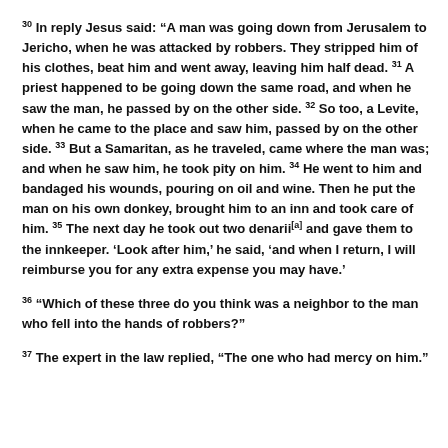30 In reply Jesus said: “A man was going down from Jerusalem to Jericho, when he was attacked by robbers. They stripped him of his clothes, beat him and went away, leaving him half dead. 31 A priest happened to be going down the same road, and when he saw the man, he passed by on the other side. 32 So too, a Levite, when he came to the place and saw him, passed by on the other side. 33 But a Samaritan, as he traveled, came where the man was; and when he saw him, he took pity on him. 34 He went to him and bandaged his wounds, pouring on oil and wine. Then he put the man on his own donkey, brought him to an inn and took care of him. 35 The next day he took out two denarii[a] and gave them to the innkeeper. ‘Look after him,’ he said, ‘and when I return, I will reimburse you for any extra expense you may have.’
36 “Which of these three do you think was a neighbor to the man who fell into the hands of robbers?”
37 The expert in the law replied, “The one who had mercy on him.”